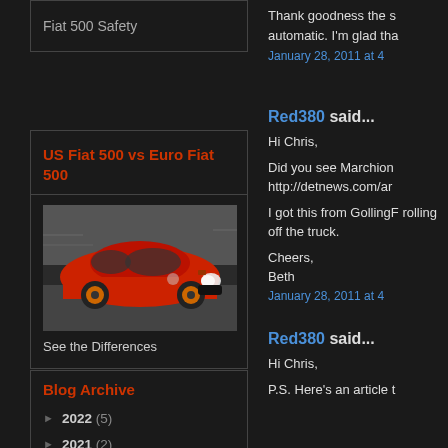Fiat 500 Safety
US Fiat 500 vs Euro Fiat 500
[Figure (photo): Red Fiat 500 car in motion on a road]
See the Differences
Blog Archive
2022 (5)
2021 (2)
2020 (12)
2019 (29)
2018 (51)
Thank goodness the s automatic. I'm glad tha
January 28, 2011 at 4
Red380 said...
Hi Chris,
Did you see Marchion http://detnews.com/ar
I got this from GollingF rolling off the truck.
Cheers,
Beth
January 28, 2011 at 4
Red380 said...
Hi Chris,
P.S. Here's an article t